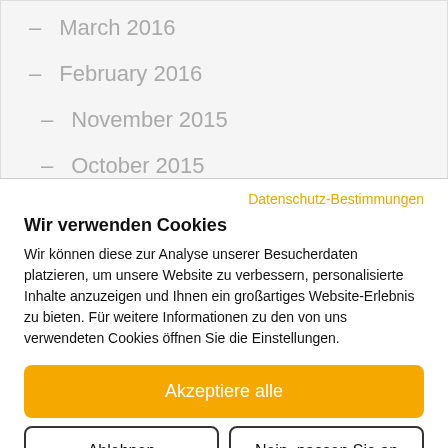– March 2016
– February 2016
– November 2015
– October 2015
Datenschutz-Bestimmungen
Wir verwenden Cookies
Wir können diese zur Analyse unserer Besucherdaten platzieren, um unsere Website zu verbessern, personalisierte Inhalte anzuzeigen und Ihnen ein großartiges Website-Erlebnis zu bieten. Für weitere Informationen zu den von uns verwendeten Cookies öffnen Sie die Einstellungen.
Akzeptiere alle
Ablehnen
Nein, passen Sie an